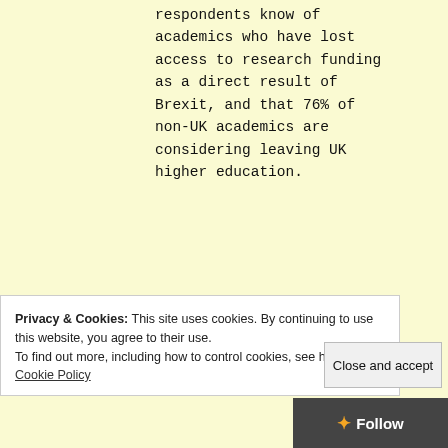respondents know of academics who have lost access to research funding as a direct result of Brexit, and that 76% of non-UK academics are considering leaving UK higher education.
The situation of non-EU academics on Tier 2 Visas is even more stringent. Universities, in line with
of academics, for insta
Privacy & Cookies: This site uses cookies. By continuing to use this website, you agree to their use. To find out more, including how to control cookies, see here: Cookie Policy